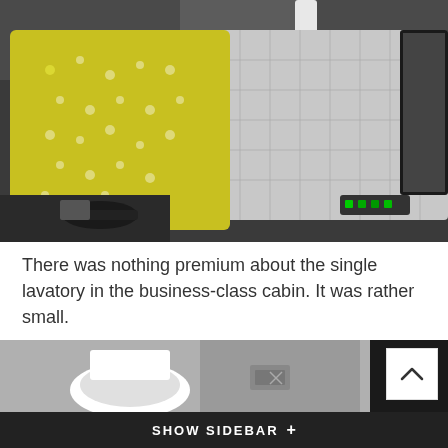[Figure (photo): Business class airplane seat with a yellow patterned pillow and a white quilted blanket/pillow, headphones, and seat controls visible. A monitor is partially visible on the right.]
There was nothing premium about the single lavatory in the business-class cabin. It was rather small.
[Figure (photo): Partial view of an airplane lavatory showing a toilet and gray surfaces.]
SHOW SIDEBAR +